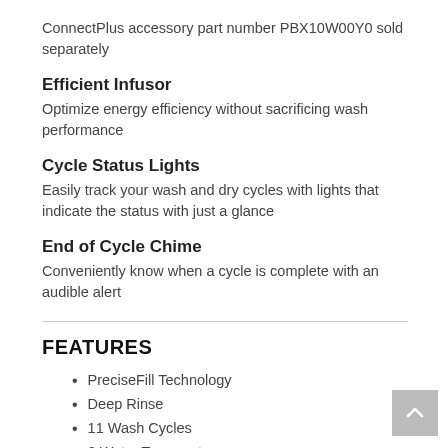ConnectPlus accessory part number PBX10W00Y0 sold separately
Efficient Infusor
Optimize energy efficiency without sacrificing wash performance
Cycle Status Lights
Easily track your wash and dry cycles with lights that indicate the status with just a glance
End of Cycle Chime
Conveniently know when a cycle is complete with an audible alert
FEATURES
PreciseFill Technology
Deep Rinse
11 Wash Cycles
6 Water Temperatures